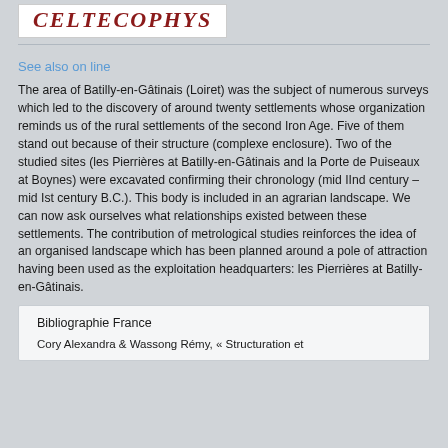[Figure (logo): CELTECOPHYS logo in dark red italic serif font inside a white box]
See also on line
The area of Batilly-en-Gâtinais (Loiret) was the subject of numerous surveys which led to the discovery of around twenty settlements whose organization reminds us of the rural settlements of the second Iron Age. Five of them stand out because of their structure (complexe enclosure). Two of the studied sites (les Pierrières at Batilly-en-Gâtinais and la Porte de Puiseaux at Boynes) were excavated confirming their chronology (mid IInd century – mid Ist century B.C.). This body is included in an agrarian landscape. We can now ask ourselves what relationships existed between these settlements. The contribution of metrological studies reinforces the idea of an organised landscape which has been planned around a pole of attraction having been used as the exploitation headquarters: les Pierrières at Batilly-en-Gâtinais.
| Bibliographie France |
| --- |
| Cory Alexandra & Wassong Rémy, « Structuration et |